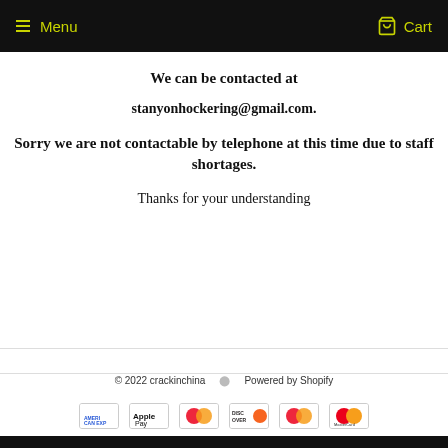Menu   Cart
We can be contacted at
stanyonhockering@gmail.com.
Sorry we are not contactable by telephone at this time due to staff shortages.
Thanks for your understanding
© 2022 crackinchina     Powered by Shopify